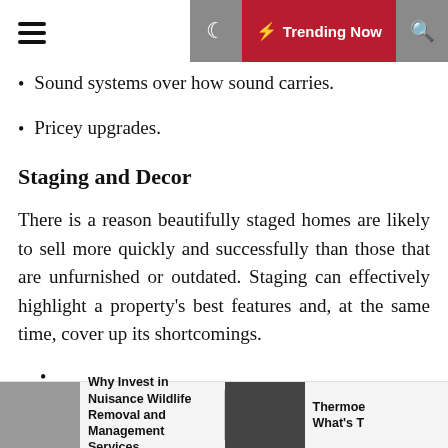☰  🌙  ⚡ Trending Now  🔍
Sound systems over how sound carries.
Pricey upgrades.
Staging and Decor
There is a reason beautifully staged homes are likely to sell more quickly and successfully than those that are unfurnished or outdated. Staging can effectively highlight a property's best features and, at the same time, cover up its shortcomings.
Load Error
[Figure (other): Empty white box with border, representing a failed image load area]
Why Invest in Nuisance Wildlife Removal and Management Services | Thermoe What's T